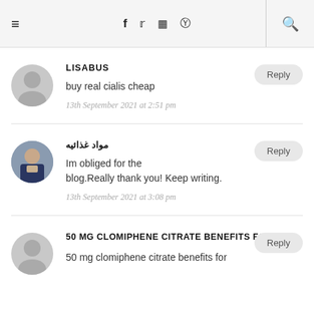≡  f  twitter  instagram  pinterest  🔍
LISABUS
buy real cialis cheap
13th September 2021 at 2:51 pm
مواد غذائيه
Im obliged for the blog.Really thank you! Keep writing.
13th September 2021 at 3:08 pm
50 MG CLOMIPHENE CITRATE BENEFITS FOR MEN
50 mg clomiphene citrate benefits for